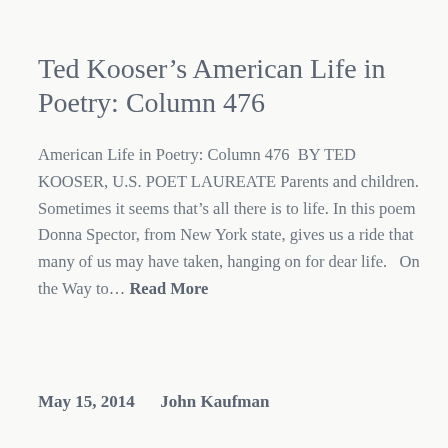Ted Kooser’s American Life in Poetry: Column 476
American Life in Poetry: Column 476  BY TED KOOSER, U.S. POET LAUREATE Parents and children. Sometimes it seems that’s all there is to life. In this poem Donna Spector, from New York state, gives us a ride that many of us may have taken, hanging on for dear life.   On the Way to… Read More
May 15, 2014      John Kaufman